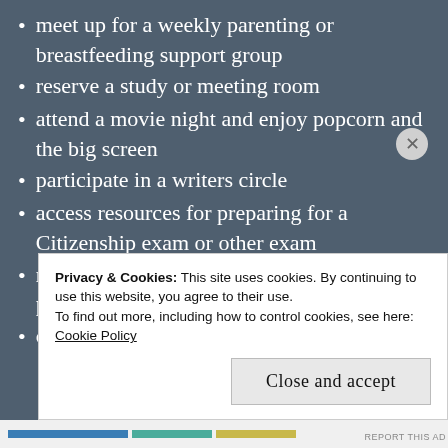meet up for a weekly parenting or breastfeeding support group
reserve a study or meeting room
attend a movie night and enjoy popcorn and the big screen
participate in a writers circle
access resources for preparing for a Citizenship exam or other exam
receive cuddles from a therapy animal program
create crafts or learn how to paint a
Privacy & Cookies: This site uses cookies. By continuing to use this website, you agree to their use.
To find out more, including how to control cookies, see here: Cookie Policy
Close and accept